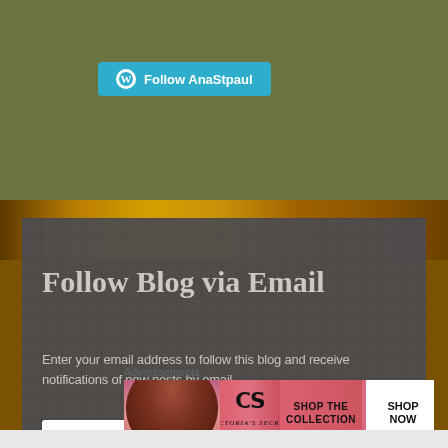[Figure (screenshot): WordPress Follow button with cyan background reading 'Follow AnaStpaul']
Follow Blog via Email
Enter your email address to follow this blog and receive notifications of new posts by email.
Email Address
Advertisements
[Figure (photo): Victoria's Secret advertisement: 'SHOP THE COLLECTION' with SHOP NOW button, pink background with model]